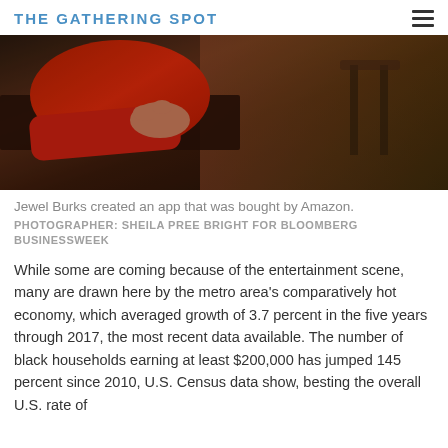THE GATHERING SPOT
[Figure (photo): A person wearing a red long-sleeve shirt seated at a dark wooden table, photographed from above/side angle in a dimly lit interior space.]
Jewel Burks created an app that was bought by Amazon.
PHOTOGRAPHER: SHEILA PREE BRIGHT FOR BLOOMBERG BUSINESSWEEK
While some are coming because of the entertainment scene, many are drawn here by the metro area's comparatively hot economy, which averaged growth of 3.7 percent in the five years through 2017, the most recent data available. The number of black households earning at least $200,000 has jumped 145 percent since 2010, U.S. Census data show, besting the overall U.S. rate of